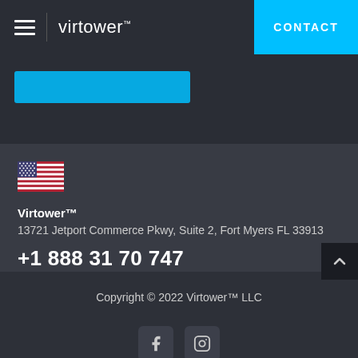virtower™   CONTACT
[Figure (screenshot): Blue button area below navigation]
[Figure (illustration): US flag icon]
Virtower™
13721 Jetport Commerce Pkwy, Suite 2, Fort Myers FL 33913
+1 888 31 70 747
Copyright © 2022 Virtower™ LLC